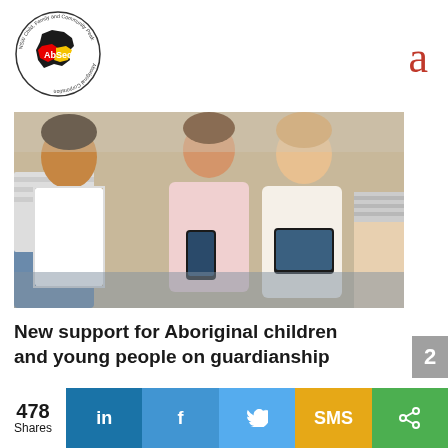[Figure (logo): AbSec NSW Child, Family and Community Peak Aboriginal Corporation circular logo with black map of NSW shape, red and yellow colors, with 'AbSec' text]
a
[Figure (photo): Children and young people sitting together on a couch, looking at phones and tablets]
New support for Aboriginal children and young people on guardianship
2
478 Shares
[Figure (infographic): Social sharing bar with LinkedIn, Facebook, Twitter, SMS, and share buttons]